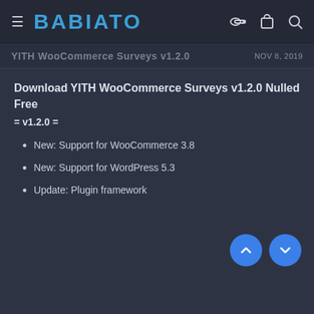BABIATO
YITH WooCommerce Surveys v1.2.0
NOV 8, 2019
Download YITH WooCommerce Surveys v1.2.0 Nulled Free
= v1.2.0 =
New: Support for WooCommerce 3.8
New: Support for WordPress 5.3
Update: Plugin framework